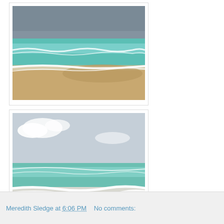[Figure (photo): Beach scene with dark stormy sky, turquoise ocean water with waves, and sandy beach in foreground]
[Figure (photo): Beach scene with blue sky and clouds, turquoise-green ocean water with waves breaking on sandy beach]
Meredith Sledge at 6:06 PM   No comments: